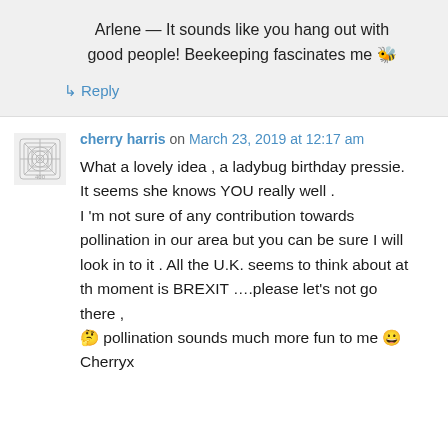Arlene — It sounds like you hang out with good people! Beekeeping fascinates me 🐝
↳ Reply
cherry harris on March 23, 2019 at 12:17 am
What a lovely idea , a ladybug birthday pressie. It seems she knows YOU really well . I 'm not sure of any contribution towards pollination in our area but you can be sure I will look in to it . All the U.K. seems to think about at th moment is BREXIT ….please let's not go there , 🤔 pollination sounds much more fun to me 😀 Cherryx